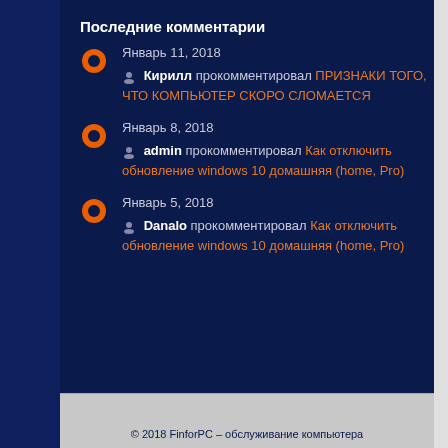Последние комментарии
Январь 11, 2018 — Кирилл прокомментировал ПРИЗНАКИ ТОГО, ЧТО КОМПЬЮТЕР СКОРО СЛОМАЕТСЯ
Январь 8, 2018 — admin прокомментировал Как отключить обновление windows 10 домашняя (home, Pro)
Январь 5, 2018 — Danalo прокомментировал Как отключить обновление windows 10 домашняя (home, Pro)
© 2018 FinforPC – обслуживание компьютера